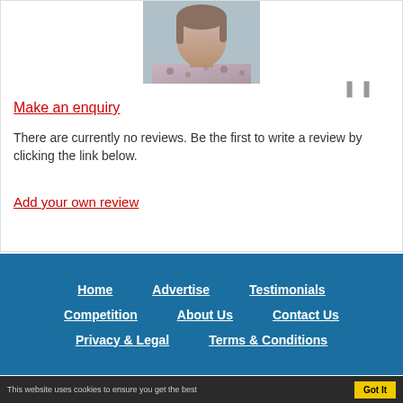[Figure (photo): Profile photo of a woman wearing a floral top, cropped at shoulder/chest level]
Make an enquiry
There are currently no reviews. Be the first to write a review by clicking the link below.
Add your own review
Home   Advertise   Testimonials   Competition   About Us   Contact Us   Privacy & Legal   Terms & Conditions
This website uses cookies to ensure you get the best